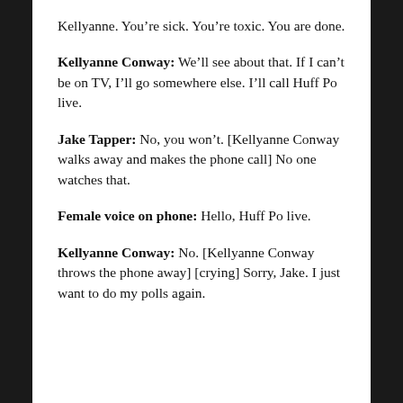Kellyanne. You're sick. You're toxic. You are done.
Kellyanne Conway: We'll see about that. If I can't be on TV, I'll go somewhere else. I'll call Huff Po live.
Jake Tapper: No, you won't. [Kellyanne Conway walks away and makes the phone call] No one watches that.
Female voice on phone: Hello, Huff Po live.
Kellyanne Conway: No. [Kellyanne Conway throws the phone away] [crying] Sorry, Jake. I just want to do my polls again.